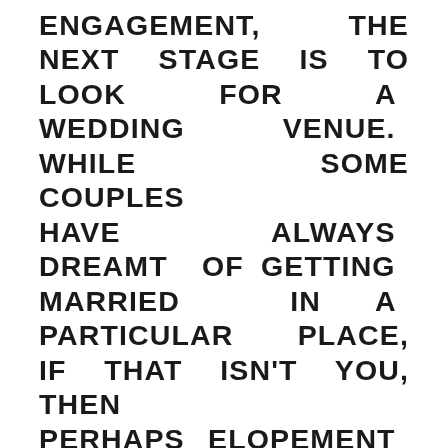ENGAGEMENT, THE NEXT STAGE IS TO LOOK FOR A WEDDING VENUE. WHILE SOME COUPLES HAVE ALWAYS DREAMT OF GETTING MARRIED IN A PARTICULAR PLACE, IF THAT ISN'T YOU, THEN PERHAPS ELOPEMENT COULD BE. ELOPEMENT HAS BECOME A POPULAR WAY TO TIE THE KNOT AS IT OFFERS THE OPPORTUNITY TO GET MARRIED AND HAVE A HOLIDAY ALL IN ONE, WITH JUST AN